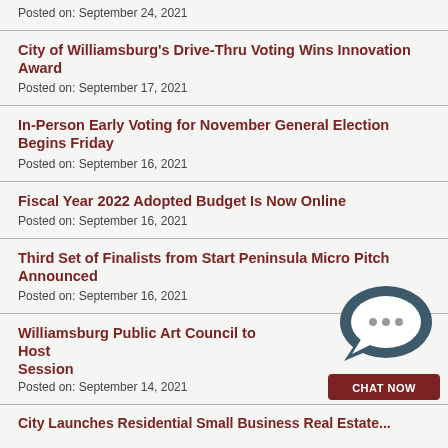Posted on: September 24, 2021
City of Williamsburg's Drive-Thru Voting Wins Innovation Award
Posted on: September 17, 2021
In-Person Early Voting for November General Election Begins Friday
Posted on: September 16, 2021
Fiscal Year 2022 Adopted Budget Is Now Online
Posted on: September 16, 2021
Third Set of Finalists from Start Peninsula Micro Pitch Announced
Posted on: September 16, 2021
Williamsburg Public Art Council to Host Session
Posted on: September 14, 2021
City Launches Residential Small Business Real Estate...
[Figure (illustration): Chat now widget with speech bubble icon and CHAT NOW button]